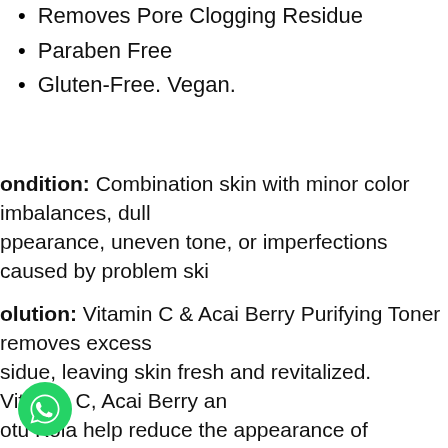Removes Pore Clogging Residue
Paraben Free
Gluten-Free. Vegan.
Condition: Combination skin with minor color imbalances, dull appearance, uneven tone, or imperfections caused by problem ski...
Solution: Vitamin C & Acai Berry Purifying Toner removes excess residue, leaving skin fresh and revitalized. Vitamin C, Acai Berry and Gotu Kola help reduce the appearance of imperfections, in addition to removing pore-clogging residue. Vitamin C & Acai Berry Purifying Toner is an effective non-abrasive way to help brighten enhance and rediscover the glow of a healthy complexion.
[Figure (logo): WhatsApp contact button (green circle with phone handset icon)]